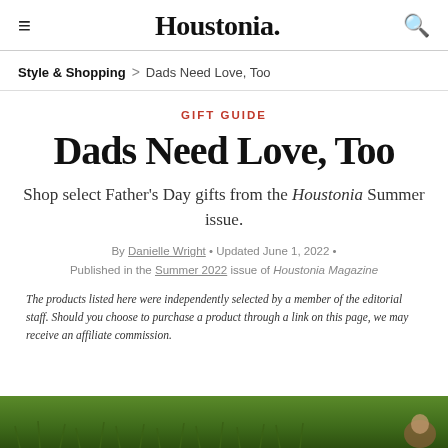≡  Houstonia.  🔍
Style & Shopping > Dads Need Love, Too
GIFT GUIDE
Dads Need Love, Too
Shop select Father's Day gifts from the Houstonia Summer issue.
By Danielle Wright • Updated June 1, 2022 • Published in the Summer 2022 issue of Houstonia Magazine
The products listed here were independently selected by a member of the editorial staff. Should you choose to purchase a product through a link on this page, we may receive an affiliate commission.
[Figure (photo): Green grass background with a partial view of a person in the lower right corner]